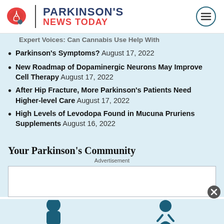PARKINSON'S NEWS TODAY
Expert Voices: Can Cannabis Use Help With Parkinson's Symptoms? August 17, 2022
New Roadmap of Dopaminergic Neurons May Improve Cell Therapy August 17, 2022
After Hip Fracture, More Parkinson's Patients Need Higher-level Care August 17, 2022
High Levels of Levodopa Found in Mucuna Pruriens Supplements August 16, 2022
Your Parkinson's Community
Advertisement
[Figure (illustration): Silhouette illustrations of people at the bottom of the page]